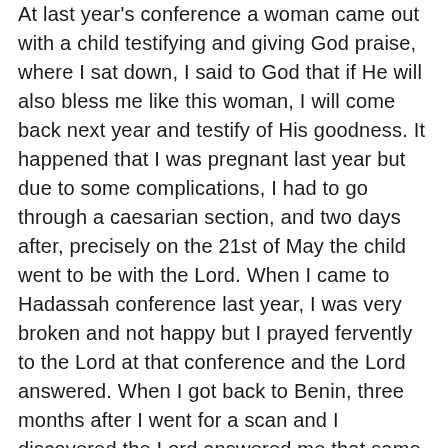At last year's conference a woman came out with a child testifying and giving God praise, where I sat down, I said to God that if He will also bless me like this woman, I will come back next year and testify of His goodness. It happened that I was pregnant last year but due to some complications, I had to go through a caesarian section, and two days after, precisely on the 21st of May the child went to be with the Lord. When I came to Hadassah conference last year, I was very broken and not happy but I prayed fervently to the Lord at that conference and the Lord answered. When I got back to Benin, three months after I went for a scan and I discovered the Lord answered me that same month of September. The doctors told me I might not be able to give birth naturally and that there might be an eruption if I try to. I was very scared and from time to time, I was always in touch with Pst. Nike because I was afraid and sent me a lot of text messages, called me, and encouraged me.